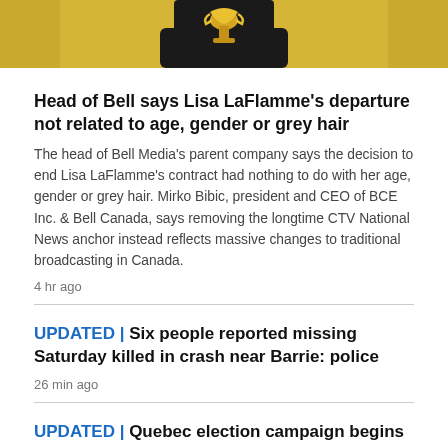[Figure (photo): Person in black outfit holding a trophy/award statue against a golden/yellow background, cropped to show torso and hands]
Head of Bell says Lisa LaFlamme's departure not related to age, gender or grey hair
The head of Bell Media's parent company says the decision to end Lisa LaFlamme's contract had nothing to do with her age, gender or grey hair. Mirko Bibic, president and CEO of BCE Inc. & Bell Canada, says removing the longtime CTV National News anchor instead reflects massive changes to traditional broadcasting in Canada.
4 hr ago
UPDATED | Six people reported missing Saturday killed in crash near Barrie: police
26 min ago
UPDATED | Quebec election campaign begins